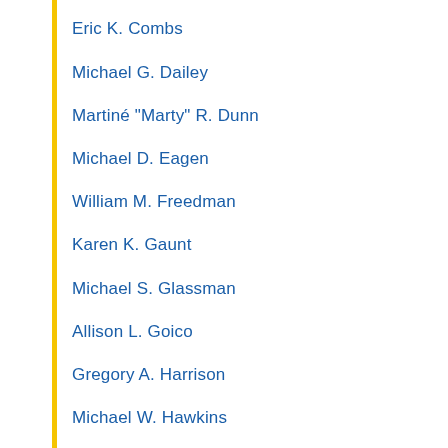Eric K. Combs
Michael G. Dailey
Martiné "Marty" R. Dunn
Michael D. Eagen
William M. Freedman
Karen K. Gaunt
Michael S. Glassman
Allison L. Goico
Gregory A. Harrison
Michael W. Hawkins